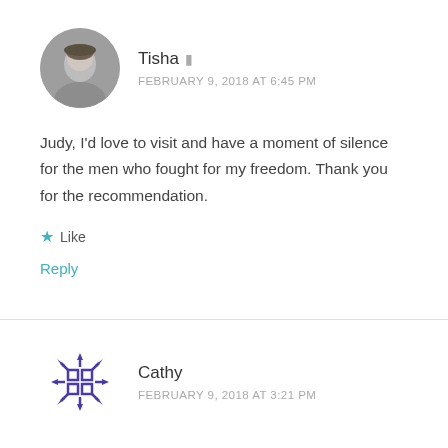[Figure (photo): Circular avatar photo of commenter Tisha, grayscale photo of a woman outdoors]
Tisha
FEBRUARY 9, 2018 AT 6:45 PM
Judy, I'd love to visit and have a moment of silence for the men who fought for my freedom. Thank you for the recommendation.
Like
Reply
[Figure (logo): Circular avatar with purple decorative snowflake/cross grid icon for commenter Cathy]
Cathy
FEBRUARY 9, 2018 AT 3:21 PM
I would recommend visiting Grand Teton and Yellowstone National Parks in Wyoming. I personally would love to take